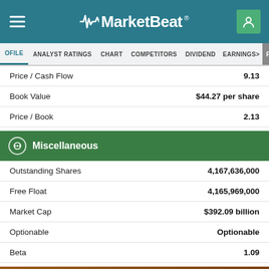MarketBeat
PROFILE  ANALYST RATINGS  CHART  COMPETITORS  DIVIDEND  EARNINGS
|  |  |
| --- | --- |
| Price / Cash Flow | 9.13 |
| Book Value | $44.27 per share |
| Price / Book | 2.13 |
Miscellaneous
|  |  |
| --- | --- |
| Outstanding Shares | 4,167,636,000 |
| Free Float | 4,165,969,000 |
| Market Cap | $392.09 billion |
| Optionable | Optionable |
| Beta | 1.09 |
Social Links
[Figure (other): Social media icons: LinkedIn, Instagram, Facebook, YouTube, Twitter]